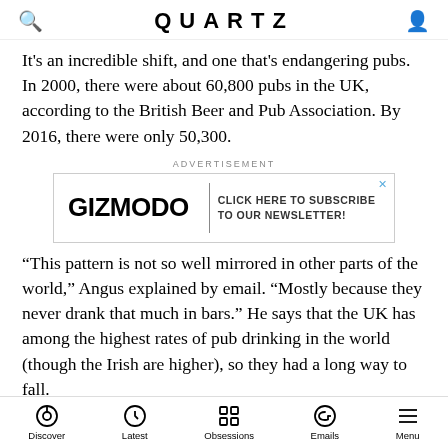QUARTZ
It's an incredible shift, and one that's endangering pubs. In 2000, there were about 60,800 pubs in the UK, according to the British Beer and Pub Association. By 2016, there were only 50,300.
[Figure (other): Gizmodo advertisement banner with text: CLICK HERE TO SUBSCRIBE TO OUR NEWSLETTER!]
“This pattern is not so well mirrored in other parts of the world,” Angus explained by email. “Mostly because they never drank that much in bars.” He says that the UK has among the highest rates of pub drinking in the world (though the Irish are higher), so they had a long way to fall.
Discover  Latest  Obsessions  Emails  Menu